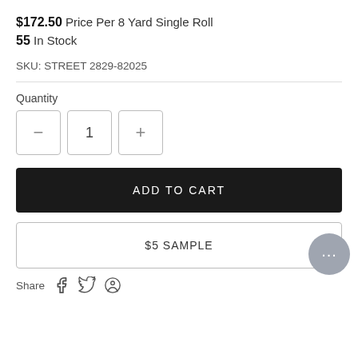$172.50 Price Per 8 Yard Single Roll
55 In Stock
SKU: STREET 2829-82025
Quantity
1
ADD TO CART
$5 SAMPLE
Share